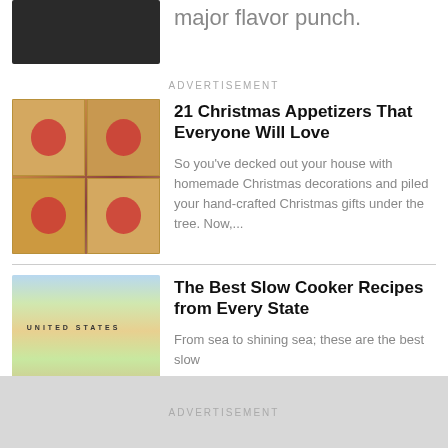[Figure (photo): Partial top image - dark food/caviar photo, cropped]
major flavor punch.
ADVERTISEMENT
[Figure (photo): Christmas appetizers - puff pastry squares topped with red peppers and green herb leaves]
21 Christmas Appetizers That Everyone Will Love
So you've decked out your house with homemade Christmas decorations and piled your hand-crafted Christmas gifts under the tree. Now,...
[Figure (photo): Colorful map of the United States showing all states in different colors]
The Best Slow Cooker Recipes from Every State
From sea to shining sea; these are the best slow
ADVERTISEMENT